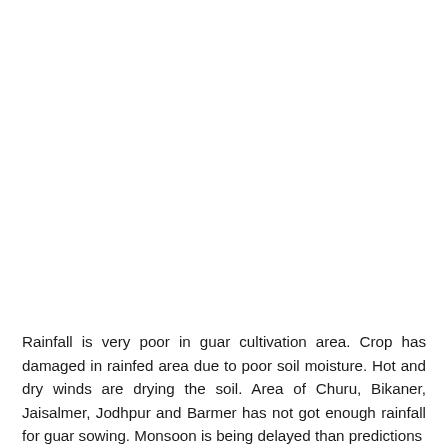Rainfall is very poor in guar cultivation area. Crop has damaged in rainfed area due to poor soil moisture. Hot and dry winds are drying the soil. Area of Churu, Bikaner, Jaisalmer, Jodhpur and Barmer has not got enough rainfall for guar sowing. Monsoon is being delayed than predictions